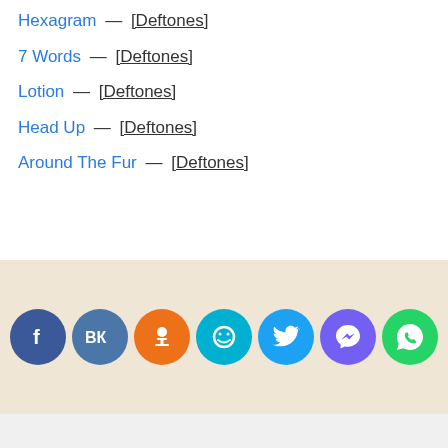Hexagram — [Deftones]
7 Words — [Deftones]
Lotion — [Deftones]
Head Up — [Deftones]
Around The Fur — [Deftones]
[Figure (infographic): Row of 7 social media share buttons on a beige/tan background: Facebook (dark blue), VK (blue), Odnoklassniki (orange), smiley/livejournal (teal), Twitter (light blue), Viber (purple), WhatsApp (green)]
«Никто кроме тебя»
ADFINITY — До закрытия блока